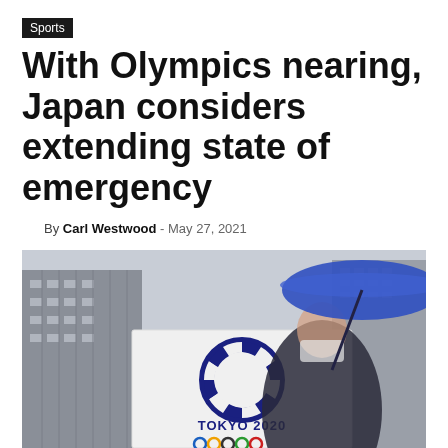Sports
With Olympics nearing, Japan considers extending state of emergency
By Carl Westwood - May 27, 2021
[Figure (photo): A masked man in a suit holding a blue umbrella walks past a Tokyo 2020 Olympics sign featuring the official logo, with a large building in the background.]